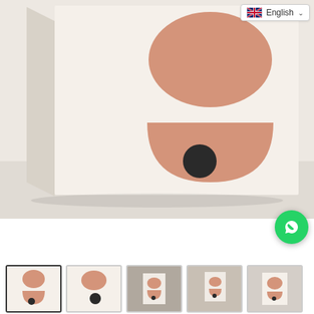[Figure (photo): Product photo of a canvas print featuring abstract minimalist art — two stacked organic pinkish-salmon shapes (oval on top, arch/dome below) over a cream background, with a small black circle near the bottom. The canvas is shown at an angle on a white surface.]
[Figure (screenshot): Language selector dropdown showing UK flag and 'English' text with a chevron.]
[Figure (screenshot): WhatsApp contact button (green circle with phone/chat icon).]
[Figure (photo): Thumbnail row showing 5 product images of the same abstract canvas art in various contexts.]